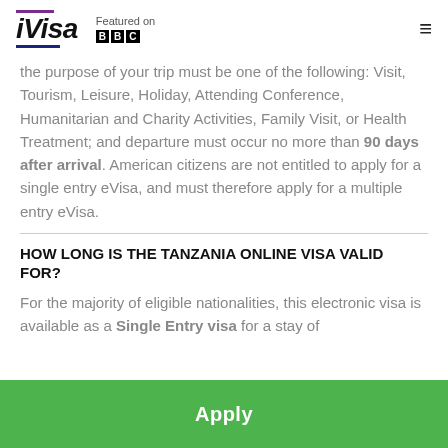iVisa — Featured on BBC
the purpose of your trip must be one of the following: Visit, Tourism, Leisure, Holiday, Attending Conference, Humanitarian and Charity Activities, Family Visit, or Health Treatment; and departure must occur no more than 90 days after arrival. American citizens are not entitled to apply for a single entry eVisa, and must therefore apply for a multiple entry eVisa.
HOW LONG IS THE TANZANIA ONLINE VISA VALID FOR?
For the majority of eligible nationalities, this electronic visa is available as a Single Entry visa for a stay of up to 90 days. Do Entry and is valid for 90 days